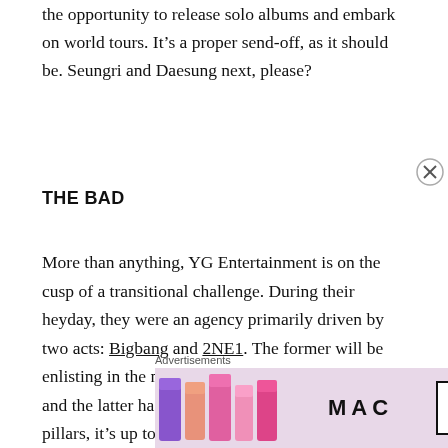the opportunity to release solo albums and embark on world tours. It's a proper send-off, as it should be. Seungri and Daesung next, please?
THE BAD
More than anything, YG Entertainment is on the cusp of a transitional challenge. During their heyday, they were an agency primarily driven by two acts: Bigbang and 2NE1. The former will be enlisting in the military soon (T.O.P already has) and the latter has disbanded. Without these two pillars, it's up to the new generation to carry the torch by themselves. And as solid as much of their music has been, I'm just not convinced that the commercial success of these
[Figure (other): MAC Cosmetics advertisement showing lipsticks with 'SHOP NOW' button and Advertisements label]